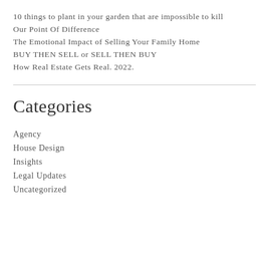10 things to plant in your garden that are impossible to kill
Our Point Of Difference
The Emotional Impact of Selling Your Family Home
BUY THEN SELL or SELL THEN BUY
How Real Estate Gets Real. 2022.
Categories
Agency
House Design
Insights
Legal Updates
Uncategorized